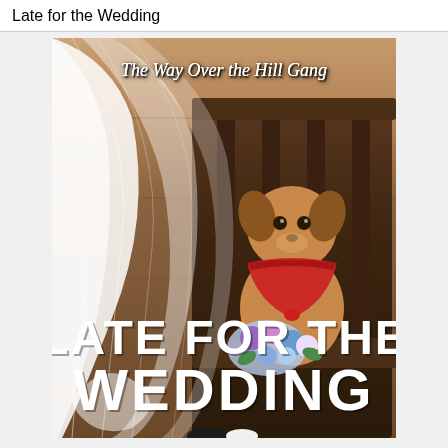Late for the Wedding
[Figure (illustration): Book cover for 'Late for the Wedding' by The Way Over the Hill Gang. Shows a small dog (Chihuahua mix) wearing a red bandana and sitting in a wooden chair holding a floral bouquet, with a white wedding veil draped on the left side against a wood-plank background. The title 'LATE FOR THE WEDDING' is in large white capital letters at the bottom, and the series name 'The Way Over the Hill Gang' is in white italic script at the top.]